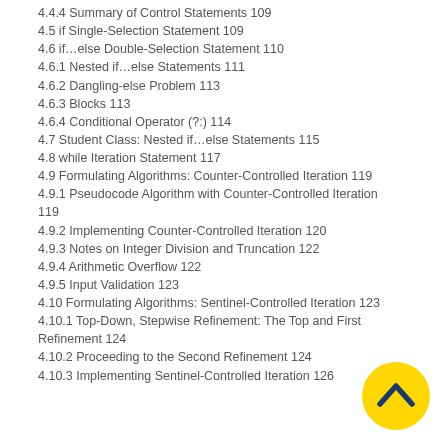4.4.4 Summary of Control Statements 109
4.5 if Single-Selection Statement 109
4.6 if…else Double-Selection Statement 110
4.6.1 Nested if…else Statements 111
4.6.2 Dangling-else Problem 113
4.6.3 Blocks 113
4.6.4 Conditional Operator (?:) 114
4.7 Student Class: Nested if…else Statements 115
4.8 while Iteration Statement 117
4.9 Formulating Algorithms: Counter-Controlled Iteration 119
4.9.1 Pseudocode Algorithm with Counter-Controlled Iteration 119
4.9.2 Implementing Counter-Controlled Iteration 120
4.9.3 Notes on Integer Division and Truncation 122
4.9.4 Arithmetic Overflow 122
4.9.5 Input Validation 123
4.10 Formulating Algorithms: Sentinel-Controlled Iteration 123
4.10.1 Top-Down, Stepwise Refinement: The Top and First Refinement 124
4.10.2 Proceeding to the Second Refinement 124
4.10.3 Implementing Sentinel-Controlled Iteration 126
[Figure (illustration): Yellow circular navigation button with a dark blue upward chevron/caret arrow icon]